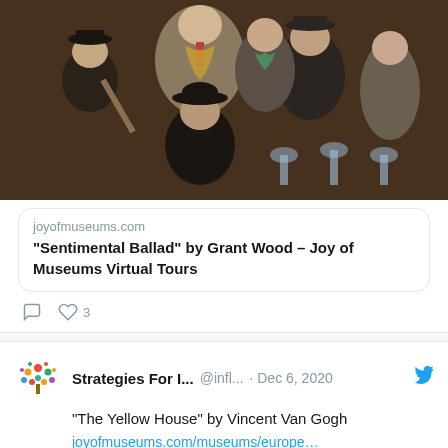[Figure (photo): Painting showing a group of people (men and women) in dark clothing, one playing a flute, gathered together — appears to be Grant Wood's 'Sentimental Ballad']
joyofmuseums.com
"Sentimental Ballad" by Grant Wood – Joy of Museums Virtual Tours
3
Strategies For I...  @infl...  · Dec 6, 2020
"The Yellow House" by Vincent Van Gogh
joyofmuseums.com/museums/europe…
[Figure (photo): Painting of The Yellow House by Vincent Van Gogh — a yellow building on a street corner under a blue sky]